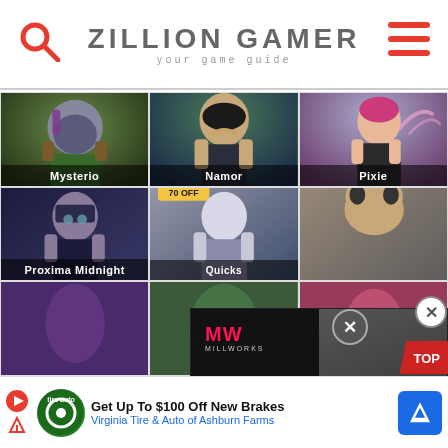ZILLION GAMER — your game guide
[Figure (screenshot): Grid of Marvel character cards: Mysterio, Namor, Pixie (row 1); Proxima Midnight, Quicksilver, Rocket Raccoon (row 2); partial row 3]
[Figure (screenshot): Video overlay showing MW (Millworks) logo, play button, text 'BEST ZOMBIE GAMES' in white and pink]
[Figure (infographic): Bottom advertisement banner: Get Up To $100 Off New Brakes — Virginia Tire & Auto of Ashburn Farms with auto service logos]